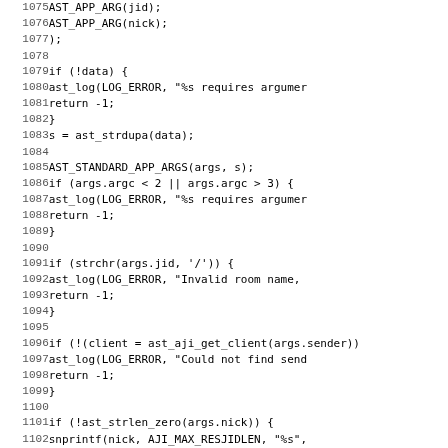[Figure (other): Source code listing in monospace font showing lines 1075-1107 of a C program, with line numbers on the left and code on the right. The code handles Jabber/XMPP client logic including argument parsing, error logging, and nickname resolution.]